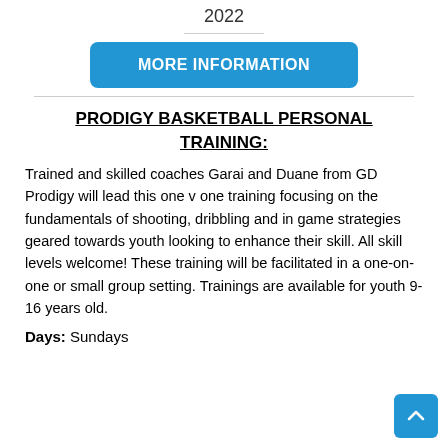2022
[Figure (other): Blue rounded rectangle button with text MORE INFORMATION in white bold uppercase letters]
PRODIGY BASKETBALL PERSONAL TRAINING:
Trained and skilled coaches Garai and Duane from GD Prodigy will lead this one v one training focusing on the fundamentals of shooting, dribbling and in game strategies geared towards youth looking to enhance their skill. All skill levels welcome! These training will be facilitated in a one-on-one or small group setting. Trainings are available for youth 9-16 years old.
Days: Sundays